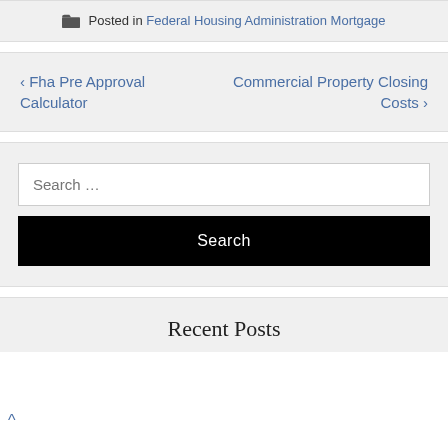Posted in Federal Housing Administration Mortgage
← Fha Pre Approval Calculator
Commercial Property Closing Costs →
Search …
Search
Recent Posts
^